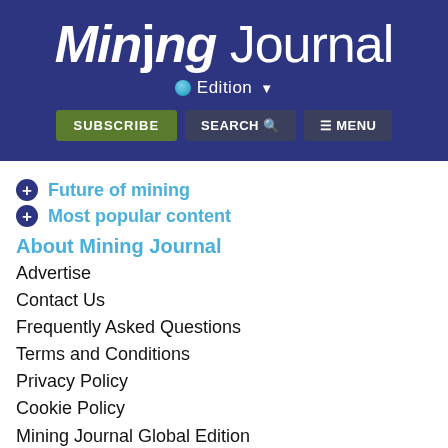[Figure (logo): Mining Journal logo — white bold italic 'Mining' and light 'Journal' text on dark navy blue banner background]
Edition
SUBSCRIBE   SEARCH   MENU
+ Future of mining
+ Most popular content
About Mining Journal
Advertise
Contact Us
Frequently Asked Questions
Terms and Conditions
Privacy Policy
Cookie Policy
Mining Journal Global Edition
Mining Journal Americas Edition
Subscribe
Subscribe to Mining Journal